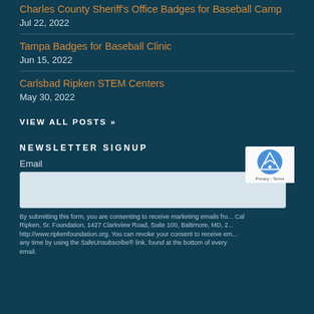Charles County Sheriff's Office Badges for Baseball Camp
Jul 22, 2022
Tampa Badges for Baseball Clinic
Jun 15, 2022
Carlsbad Ripken STEM Centers
May 30, 2022
VIEW ALL POSTS »
NEWSLETTER SIGNUP
Email
By submitting this form, you are consenting to receive marketing emails from: Cal Ripken, Sr. Foundation, 1427 Clarkview Road, Suite 100, Baltimore, MD, 2 http://www.ripkenfoundation.org. You can revoke your consent to receive em any time by using the SafeUnsubscribe® link, found at the bottom of every email.